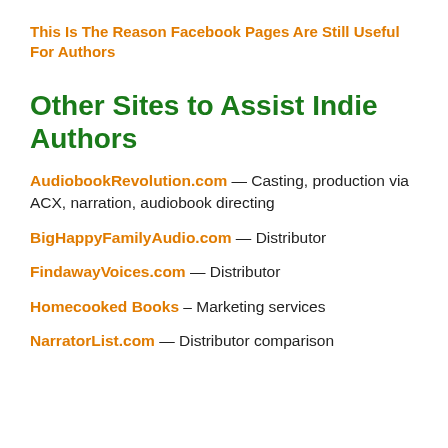This Is The Reason Facebook Pages Are Still Useful For Authors
Other Sites to Assist Indie Authors
AudiobookRevolution.com — Casting, production via ACX, narration, audiobook directing
BigHappyFamilyAudio.com — Distributor
FindawayVoices.com — Distributor
Homecooked Books – Marketing services
NarratorList.com — Distributor comparison